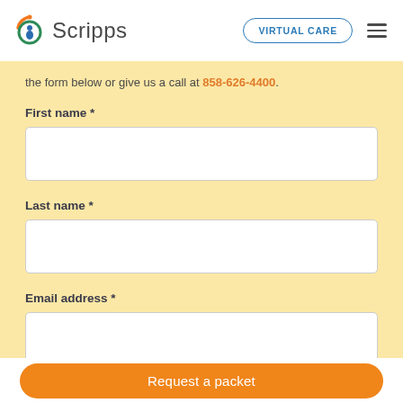Scripps — VIRTUAL CARE
the form below or give us a call at 858-626-4400.
First name *
Last name *
Email address *
Request a packet